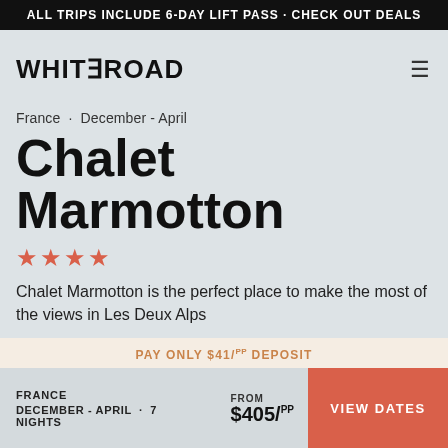ALL TRIPS INCLUDE 6-DAY LIFT PASS · CHECK OUT DEALS
WHITEROAD
France · December - April
Chalet Marmotton
★★★★
Chalet Marmotton is the perfect place to make the most of the views in Les Deux Alps
PAY ONLY $41/pp DEPOSIT
FRANCE
DECEMBER - APRIL · 7 NIGHTS
FROM $405/pp
VIEW DATES